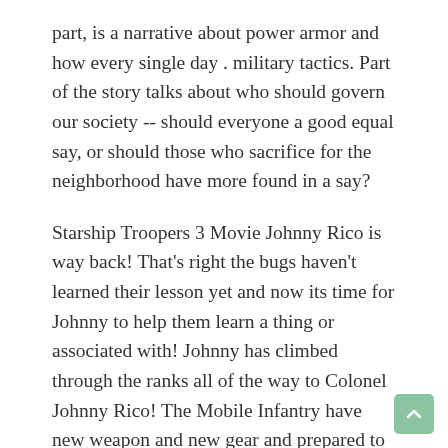part, is a narrative about power armor and how every single day . military tactics. Part of the story talks about who should govern our society -- should everyone a good equal say, or should those who sacrifice for the neighborhood have more found in a say?
Starship Troopers 3 Movie Johnny Rico is way back! That's right the bugs haven't learned their lesson yet and now its time for Johnny to help them learn a thing or associated with! Johnny has climbed through the ranks all of the way to Colonel Johnny Rico! The Mobile Infantry have new weapon and new gear and prepared to fight the glitches. Unfortunately as the M.I. begin to adapt and improve themselves so perform the